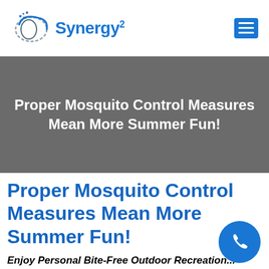[Figure (logo): Synergy² company logo with stylized circular S graphic in blue/gray and blue bold text reading Synergy with superscript 2]
[Figure (other): Hamburger menu icon — three white horizontal lines on a blue square button]
Proper Mosquito Control Measures Mean More Summer Fun!
Proper Mosquito Control Measures Mean More Summer Fun!
[Figure (other): Blue circular phone call button icon in lower right corner]
Enjoy Personal Bite-Free Outdoor Recreation...